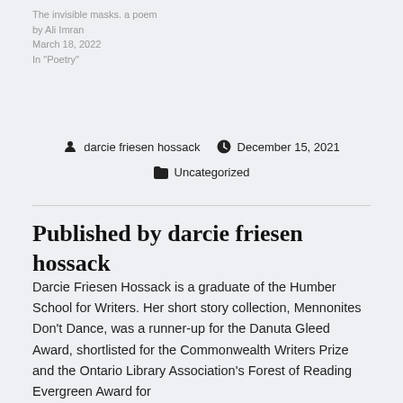The invisible masks. a poem
by Ali Imran
March 18, 2022
In "Poetry"
darcie friesen hossack   December 15, 2021
Uncategorized
Published by darcie friesen hossack
Darcie Friesen Hossack is a graduate of the Humber School for Writers. Her short story collection, Mennonites Don't Dance, was a runner-up for the Danuta Gleed Award, shortlisted for the Commonwealth Writers Prize and the Ontario Library Association's Forest of Reading Evergreen Award for